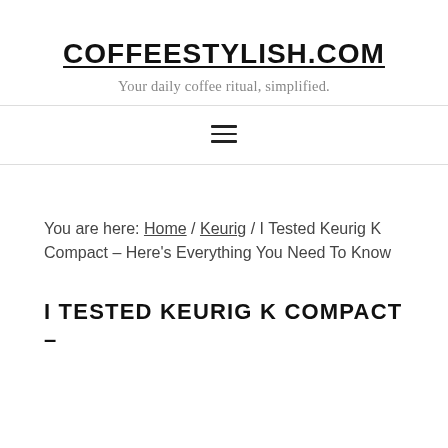COFFEESTYLISH.COM
Your daily coffee ritual, simplified.
[Figure (other): Hamburger navigation menu icon with three horizontal lines]
You are here: Home / Keurig / I Tested Keurig K Compact – Here's Everything You Need To Know
I TESTED KEURIG K COMPACT –